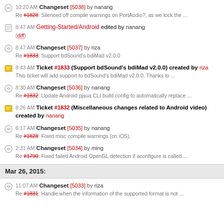10:20 AM Changeset [5038] by nanang
Re #1828: Silenced off compile warnings on PortAudio?, as we lock the ...
8:47 AM Getting-Started/Android edited by nanang
(diff)
8:47 AM Changeset [5037] by riza
Re #1833: Support bdSound's bdiMad v2.0.0
8:43 AM Ticket #1833 (Support bdSound's bdiMad v2.0.0) created by riza
This ticket will add support to bdSound's bdiMad v2.0.0. Thanks to ...
8:30 AM Changeset [5036] by nanang
Re #1832: Update Android pjsua CLI build config to automatically replace ...
8:26 AM Ticket #1832 (Miscellaneous changes related to Android video) created by nanang
6:17 AM Changeset [5035] by nanang
Re #1828: Fixed misc compile warnings (on iOS).
2:31 AM Changeset [5034] by ming
Re #1790: Fixed failed Android OpenGL detection if aconfigure is called ...
Mar 26, 2015:
11:07 AM Changeset [5033] by riza
Re #1831: Handle when the information of the supported format is not ...